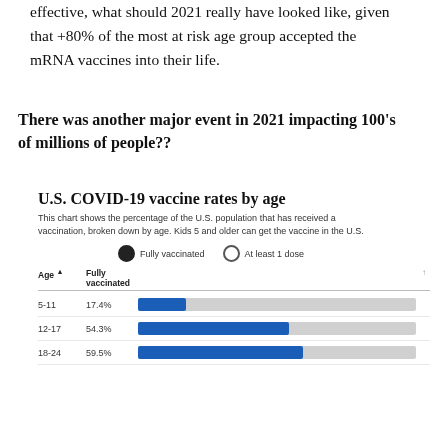effective, what should 2021 really have looked like, given that +80% of the most at risk age group accepted the mRNA vaccines into their life.
There was another major event in 2021 impacting 100's of millions of people??
[Figure (bar-chart): This chart shows the percentage of the U.S. population that has received a vaccination, broken down by age. Kids 5 and older can get the vaccine in the U.S.]